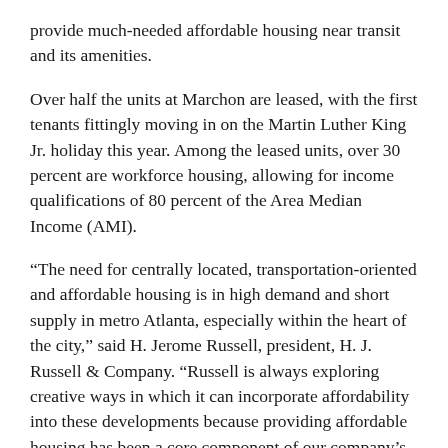provide much-needed affordable housing near transit and its amenities.
Over half the units at Marchon are leased, with the first tenants fittingly moving in on the Martin Luther King Jr. holiday this year. Among the leased units, over 30 percent are workforce housing, allowing for income qualifications of 80 percent of the Area Median Income (AMI).
“The need for centrally located, transportation-oriented and affordable housing is in high demand and short supply in metro Atlanta, especially within the heart of the city,” said H. Jerome Russell, president, H. J. Russell & Company. “Russell is always exploring creative ways in which it can incorporate affordability into these developments because providing affordable housing has been a core component of our company’s mission for 70